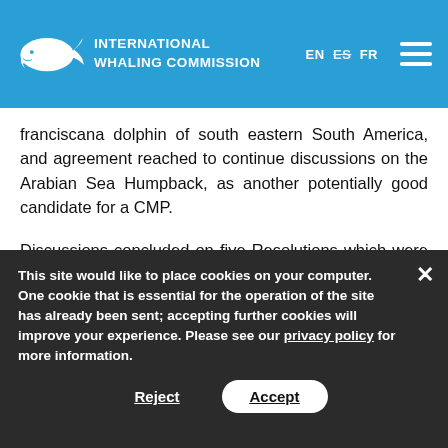International Whaling Commission — EN ES FR
franciscana dolphin of south eastern South America, and agreement reached to continue discussions on the Arabian Sea Humpback, as another potentially good candidate for a CMP.
Discussions concluded on five Resolutions which were opened earlier in the week.  Consensus was achieved on a Resolution on Effectiveness of the IWC and a comprehensive, independent review will be conducted during the intersessional period.
This site would like to place cookies on your computer. One cookie that is essential for the operation of the site has already been sent; accepting further cookies will improve your experience. Please see our privacy policy for more information.